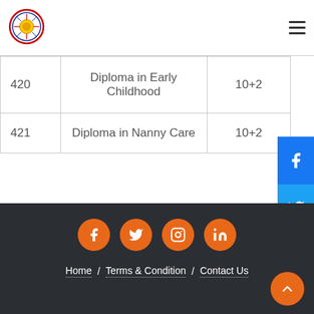[Figure (logo): Circular institutional logo with red/blue border and emblem]
|  |  |  |
| --- | --- | --- |
| 420 | Diploma in Early Childhood | 10+2 |
| 421 | Diploma in Nanny Care | 10+2 |
Home / Terms & Condition / Contact Us